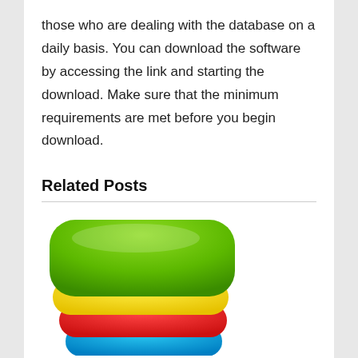those who are dealing with the database on a daily basis. You can download the software by accessing the link and starting the download. Make sure that the minimum requirements are met before you begin download.
Related Posts
[Figure (logo): BlueStacks logo — stacked rounded rectangles in green, yellow, red, and blue colors]